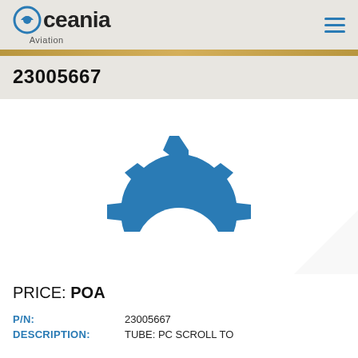Oceania Aviation
23005667
[Figure (illustration): Blue half-gear / cog icon used as product placeholder image for aviation parts]
PRICE: POA
P/N: 23005667
DESCRIPTION: TUBE: PC SCROLL TO